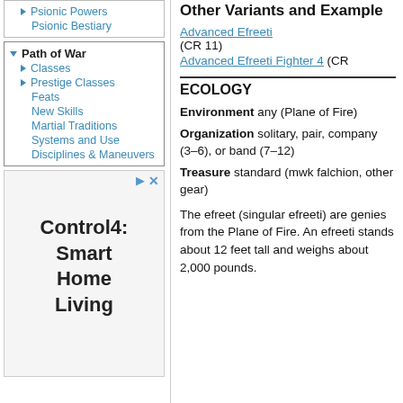Psionic Powers
Psionic Bestiary
Path of War
Classes
Prestige Classes
Feats
New Skills
Martial Traditions
Systems and Use
Disciplines & Maneuvers
[Figure (infographic): Advertisement box with play and close controls showing 'Control4: Smart Home Living']
Other Variants and Example
Advanced Efreeti (CR 11)
Advanced Efreeti Fighter 4 (CR
ECOLOGY
Environment any (Plane of Fire)
Organization solitary, pair, company (3–6), or band (7–12)
Treasure standard (mwk falchion, other gear)
The efreet (singular efreeti) are genies from the Plane of Fire. An efreeti stands about 12 feet tall and weighs about 2,000 pounds.